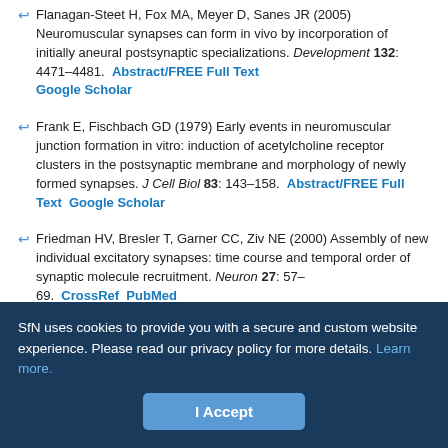Flanagan-Steet H, Fox MA, Meyer D, Sanes JR (2005) Neuromuscular synapses can form in vivo by incorporation of initially aneural postsynaptic specializations. Development 132: 4471–4481. Abstract/FREE Full Text Google Scholar
Frank E, Fischbach GD (1979) Early events in neuromuscular junction formation in vitro: induction of acetylcholine receptor clusters in the postsynaptic membrane and morphology of newly formed synapses. J Cell Biol 83: 143–158. Abstract/FREE Full Text Google Scholar
Friedman HV, Bresler T, Garner CC, Ziv NE (2000) Assembly of new individual excitatory synapses: time course and temporal order of synaptic molecule recruitment. Neuron 27: 57–69. CrossRef PubMed Google Scholar
Gillespie SK, Balasubramanian S, Fung ET, Huganir RL (1996) Rapsyn clusters and activates the synapse-specific receptor tyrosine kinase MuSK. Neuron 16: 953–962. CrossRef PubMed Google Scholar
SfN uses cookies to provide you with a secure and custom website experience. Please read our privacy policy for more details. Learn more.